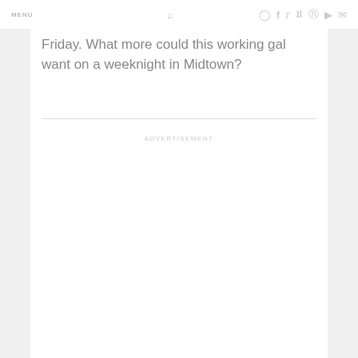MENU
Friday. What more could this working gal want on a weeknight in Midtown?
ADVERTISEMENT